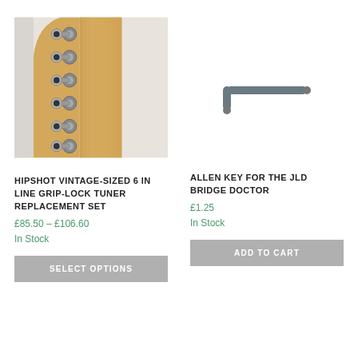[Figure (photo): Close-up photo of guitar tuner pegs (Hipshot vintage-sized 6-in-line grip-lock tuners) on a maple guitar neck headstock]
[Figure (photo): Photo of a small grey L-shaped allen key / hex wrench for the JLD Bridge Doctor]
HIPSHOT VINTAGE-SIZED 6 IN LINE GRIP-LOCK TUNER REPLACEMENT SET
£85.50 – £106.60
In Stock
SELECT OPTIONS
ALLEN KEY FOR THE JLD BRIDGE DOCTOR
£1.25
In Stock
ADD TO CART